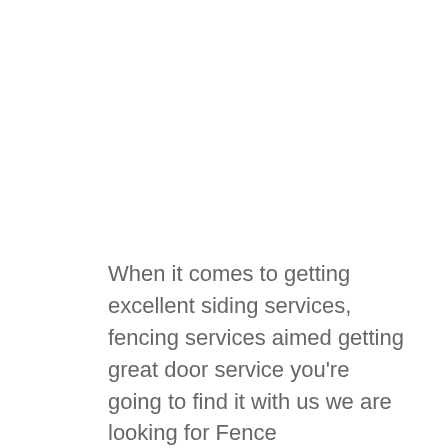When it comes to getting excellent siding services, fencing services aimed getting great door service you're going to find it with us we are looking for Fence Replacement Amarillo. It is our deepest truth to make sure that when things are going way work, we want to help them get right on track. Every